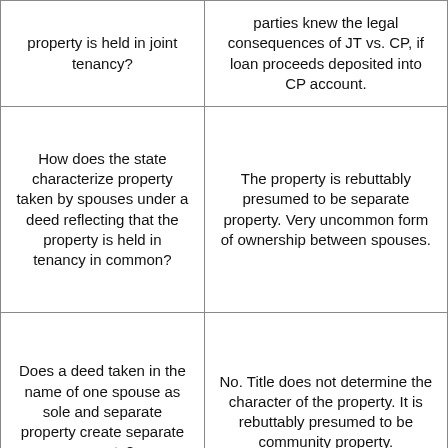| property is held in joint tenancy? | parties knew the legal consequences of JT vs. CP, if loan proceeds deposited into CP account. |
| How does the state characterize property taken by spouses under a deed reflecting that the property is held in tenancy in common? | The property is rebuttably presumed to be separate property. Very uncommon form of ownership between spouses. |
| Does a deed taken in the name of one spouse as sole and separate property create separate property? | No. Title does not determine the character of the property. It is rebuttably presumed to be community property. |